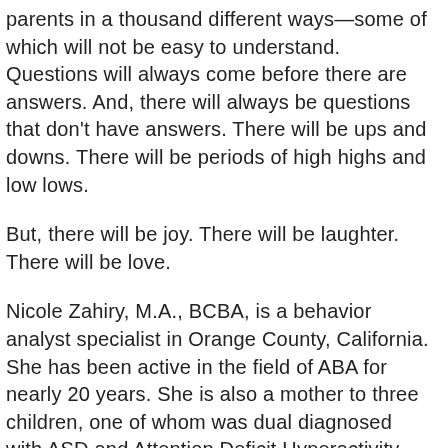parents in a thousand different ways—some of which will not be easy to understand. Questions will always come before there are answers. And, there will always be questions that don't have answers. There will be ups and downs. There will be periods of high highs and low lows.
But, there will be joy. There will be laughter. There will be love.
Nicole Zahiry, M.A., BCBA, is a behavior analyst specialist in Orange County, California. She has been active in the field of ABA for nearly 20 years. She is also a mother to three children, one of whom was dual diagnosed with ASD and Attention Deficit Hyperactivity Disorder (ADHD).